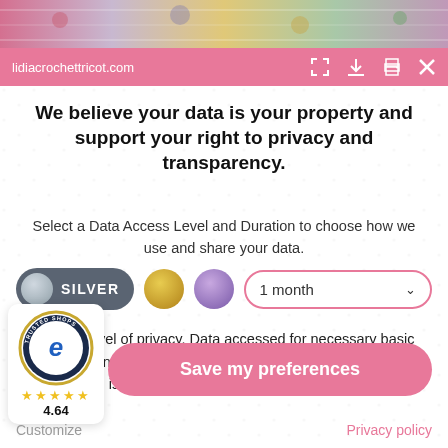[Figure (screenshot): Top decorative image strip showing colorful crochet/knitting products]
lidiacrochettricot.com
We believe your data is your property and support your right to privacy and transparency.
Select a Data Access Level and Duration to choose how we use and share your data.
[Figure (infographic): Privacy level selector showing SILVER toggle button, gold circle, purple circle, and 1 month dropdown]
Highest level of privacy. Data accessed for necessary basic operations only. Data shared with 3rd parties to ensure the site is secure and works on your device.
[Figure (logo): Trusted Shops e GUARANTEE badge with 4.64 rating and 5 gold stars]
Save my preferences
Customize
Privacy policy